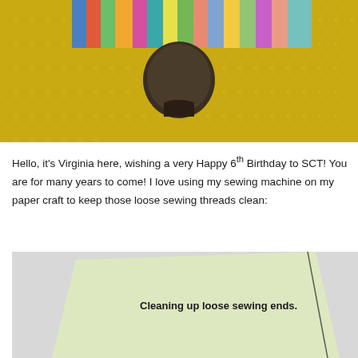[Figure (photo): Top portion of a photo showing colorful patterned paper strips/washi tape on a yellow polka dot background with a dark round object (stamp or tool) in the center.]
Hello, it's Virginia here, wishing a very Happy 6th Birthday to SCT!  You are for many years to come!  I love using my sewing machine on my paper craft to keep those loose sewing threads clean:
[Figure (photo): A light yellow-green card or paper at an angle on a grey background with a dark thread sewing line along the right edge. Text on the card reads: Cleaning up loose sewing ends.]